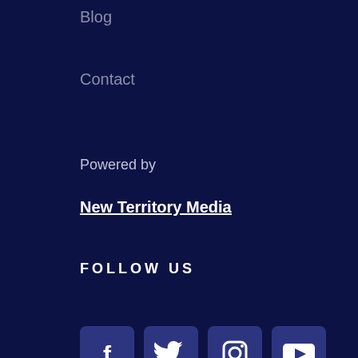Blog
Contact
Powered by
New Territory Media
FOLLOW US
[Figure (infographic): Four social media icon buttons: Facebook, Twitter, Instagram, YouTube]
RECENT POSTS
THE MINDSET FOR CREATING LASTING HABITS [BETTER NOT PERFECT EP01]